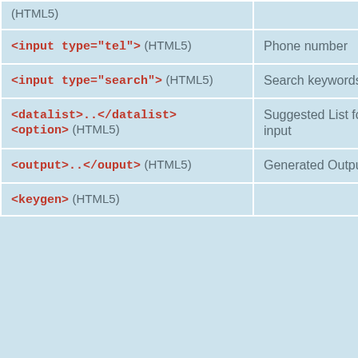| Tag | Description |
| --- | --- |
| (HTML5) |  |
| <input type="tel"> (HTML5) | Phone number |
| <input type="search"> (HTML5) | Search keywords |
| <datalist>..</datalist> <option> (HTML5) | Suggested List for input |
| <output>..</ouput> (HTML5) | Generated Output |
| <keygen> (HTML5) |  |